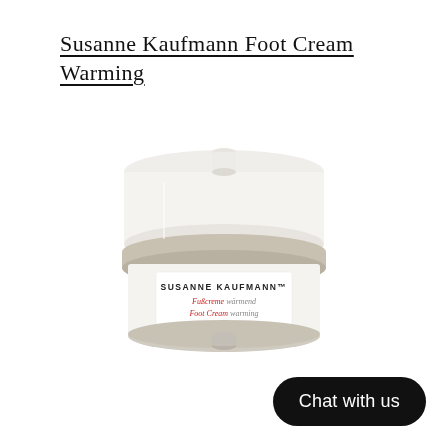Susanne Kaufmann Foot Cream Warming
[Figure (photo): A white cosmetic jar of Susanne Kaufmann Fußcreme wärmend / Foot Cream warming, 200 ml (NET WT 7.0 OZ), with a white lid and beige/grey band near the base, label showing brand name in caps and product name in red and black text.]
Chat with us